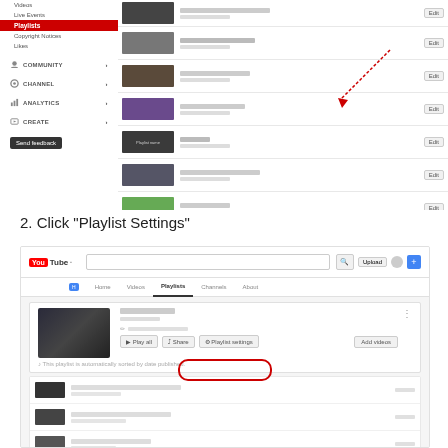[Figure (screenshot): YouTube Studio interface showing the Playlists section selected in the sidebar, with a list of playlists displayed in the main content area and a red arrow annotation pointing to an Edit button.]
2. Click "Playlist Settings"
[Figure (screenshot): YouTube channel page showing a playlist with action buttons including Play all, Share, Playlist settings (circled in red), and Add videos.]